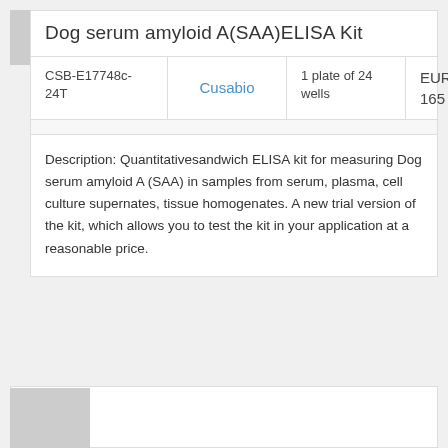Dog serum amyloid A(SAA)ELISA Kit
| SKU | Brand | Quantity | Price |
| --- | --- | --- | --- |
| CSB-E17748c-24T | Cusabio | 1 plate of 24 wells | EUR 165 |
Description: Quantitativesandwich ELISA kit for measuring Dog serum amyloid A (SAA) in samples from serum, plasma, cell culture supernates, tissue homogenates. A new trial version of the kit, which allows you to test the kit in your application at a reasonable price.